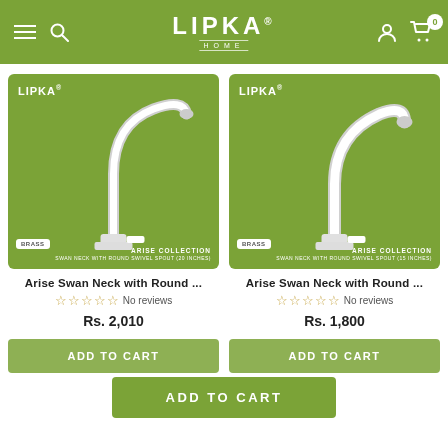LIPKA HOME — navigation bar with menu, search, account, cart (0)
[Figure (photo): Arise Swan Neck with Round Swivel Spout (20 inches) faucet on green background. LIPKA branding. BRASS badge. ARISE COLLECTION label.]
[Figure (photo): Arise Swan Neck with Round Swivel Spout (15 inches) faucet on green background. LIPKA branding. BRASS badge. ARISE COLLECTION label.]
Arise Swan Neck with Round ...
☆☆☆☆☆ No reviews
Rs. 2,010
Arise Swan Neck with Round ...
☆☆☆☆☆ No reviews
Rs. 1,800
ADD TO CART
ADD TO CART
ADD TO CART